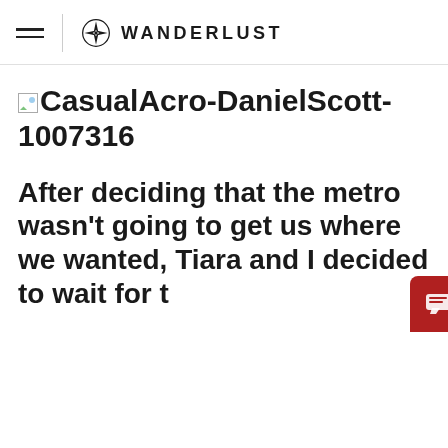WANDERLUST
CasualAcro-DanielScott-1007316
After deciding that the metro wasn't going to get us where we wanted, Tiara and I decided to wait for t